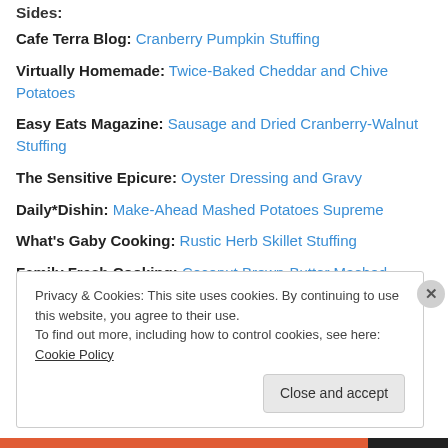Sides:
Cafe Terra Blog: Cranberry Pumpkin Stuffing
Virtually Homemade: Twice-Baked Cheddar and Chive Potatoes
Easy Eats Magazine: Sausage and Dried Cranberry-Walnut Stuffing
The Sensitive Epicure: Oyster Dressing and Gravy
Daily*Dishin: Make-Ahead Mashed Potatoes Supreme
What's Gaby Cooking: Rustic Herb Skillet Stuffing
Family Fresh Cooking: Coconut Brown-Butter Mashed Sweet Potatoes
Privacy & Cookies: This site uses cookies. By continuing to use this website, you agree to their use. To find out more, including how to control cookies, see here: Cookie Policy